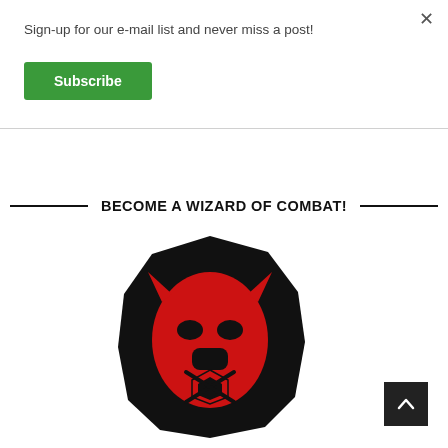Sign-up for our e-mail list and never miss a post!
Subscribe
BECOME A WIZARD OF COMBAT!
[Figure (logo): Red and black stylized beast/monster head logo with shield emblem, set on a dark irregular hexagonal background shape]